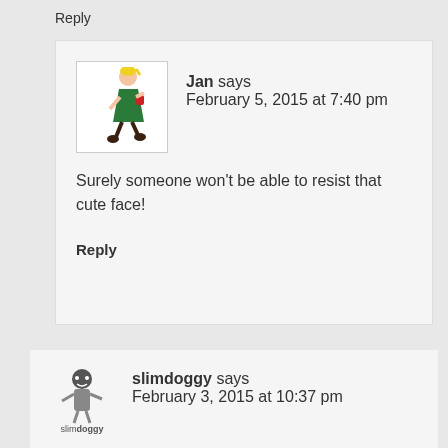Reply
[Figure (illustration): Avatar illustration of a person in a green dress walking, with yellow hair and brown boots]
Jan says
February 5, 2015 at 7:40 pm
Surely someone won't be able to resist that cute face!
Reply
[Figure (illustration): Avatar illustration of slimdoggy - a stick figure dog character with text 'slimdoggy' below]
slimdoggy says
February 3, 2015 at 10:37 pm